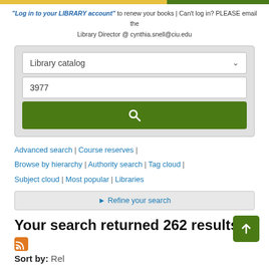"Log in to your LIBRARY account" to renew your books | Can't log in? PLEASE email the Library Director @ cynthia.snell@ciu.edu
[Figure (screenshot): Library catalog search widget with dropdown selector showing 'Library catalog', a text input containing '3977', and a green search button with magnifying glass icon]
Advanced search | Course reserves | Browse by hierarchy | Authority search | Tag cloud | Subject cloud | Most popular | Libraries
▶ Refine your search
Your search returned 262 results.
[Figure (logo): RSS feed orange icon]
Sort by: Relevance